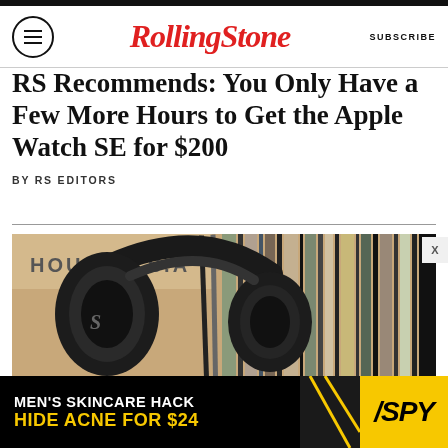RollingStone | SUBSCRIBE
RS Recommends: You Only Have a Few More Hours to Get the Apple Watch SE for $200
BY RS EDITORS
[Figure (photo): Black over-ear headphones resting on vinyl records in a record crate, with 'HOUSE V.S.A' label visible]
[Figure (infographic): Advertisement: MEN'S SKINCARE HACK HIDE ACNE FOR $24, SPY logo]